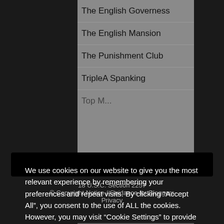The English Governess
The English Mansion
The Punishment Club
TripleA Spanking
We use cookies on our website to give you the most relevant experience by remembering your preferences and repeat visits. By clicking “Accept All”, you consent to the use of ALL the cookies. However, you may visit “Cookie Settings” to provide a controlled consent.
Cookie settings
Accept All
18 U.S.C. Section 2257
© Copyright Notice / Guidance for Bloggers
Privacy